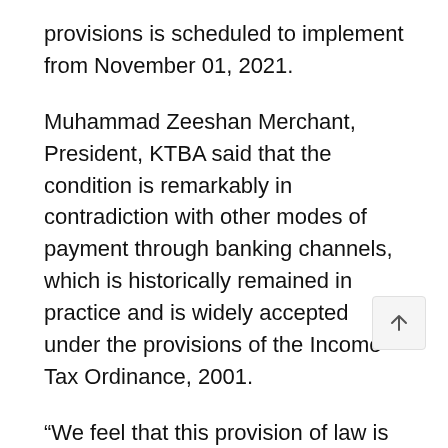provisions is scheduled to implement from November 01, 2021.
Muhammad Zeeshan Merchant, President, KTBA said that the condition is remarkably in contradiction with other modes of payment through banking channels, which is historically remained in practice and is widely accepted under the provisions of the Income Tax Ordinance, 2001.
“We feel that this provision of law is antibusiness; sans due diligence and is incorporated without taking the stakeholders into confidence,” he said.
Additionally, it is not practical for many business houses, he added.
A summary explaining certain situations (and by no